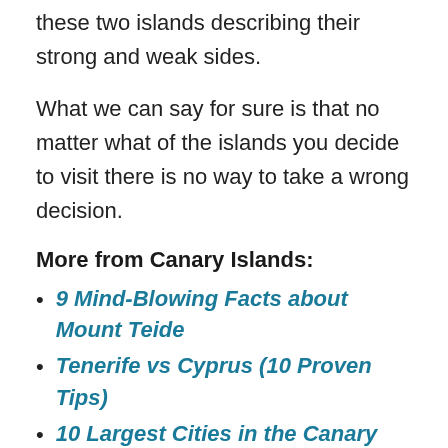these two islands describing their strong and weak sides.
What we can say for sure is that no matter what of the islands you decide to visit there is no way to take a wrong decision.
More from Canary Islands:
9 Mind-Blowing Facts about Mount Teide
Tenerife vs Cyprus (10 Proven Tips)
10 Largest Cities in the Canary Islands?